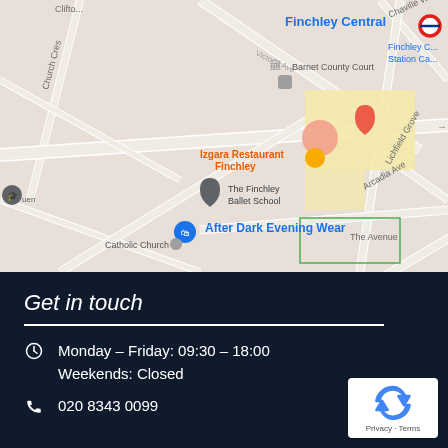[Figure (map): Google Maps screenshot showing Finchley Central area in London. Visible landmarks include Barnet County Court, Izgara Restaurant Finchley, The Finchley Ballet School, After Dark Evening Wear, Catholic Church, Finchley Central underground station. Street names include Church Cres, Victoria Ave, Lichfield Grove, Arcadia Ave, The Avenue.]
Get in touch
Monday - Friday: 09:30 - 18:00
Weekends: Closed
020 8343 0099